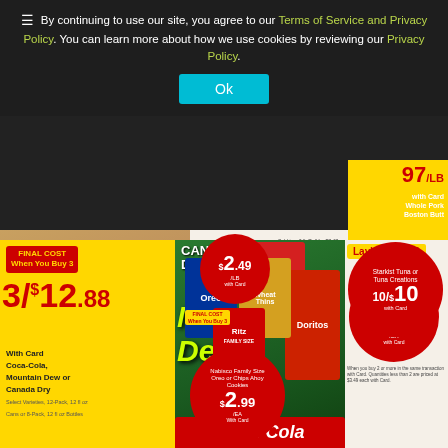By continuing to use our site, you agree to our Terms of Service and Privacy Policy. You can learn more about how we use cookies by reviewing our Privacy Policy.
Ok
[Figure (photo): Grocery store weekly ad flyer showing meat, crackers, tuna, sodas, and chips with sale prices]
$2.49 /LB with Card
Sold in a 3 lb Roll for $7.47 or Schweid & Sons Burger Patties, 1.33 lb Pkg, $6.99 with Card
Boneless Pork Chops 10/$10 with Card
FINAL COST When You Buy 3 Nabisco Family Size Oreo or Chips Ahoy Cookies $2.99 /EA with Card
12.2-20 oz or Family Size Snack Crackers, 10-14 oz or Family Size Ritz Crackers, 17.8-20.6 oz, Select Varieties. When you buy 3 or more in the same transaction with Card. Quantities less than 3 are $4.49 each.
Starkist Tuna or Tuna Creations 10/$10 with Card
2.6 oz Pouch or Red Gold Tomatoes, 14.5 oz or Kroger Seasoned Herb Croutons, 5 oz, Select Varieties.
FINAL COST When You Buy 3 3/$12.88 With Card Coca-Cola, Mountain Dew or Canada Dry Select Varieties, 12-Pack, 12 fl oz Cans or 8-Pack, 12 fl oz Bottles
Lays FINAL COST When You Buy 2 Frito-Lay Party Size Snacks Select Varieties, 8-13.7 oz $2.99 /EA with Card
When you buy 2 or more in the same transaction with Card. Quantities less than 2 are priced at $3.49 each with Card.